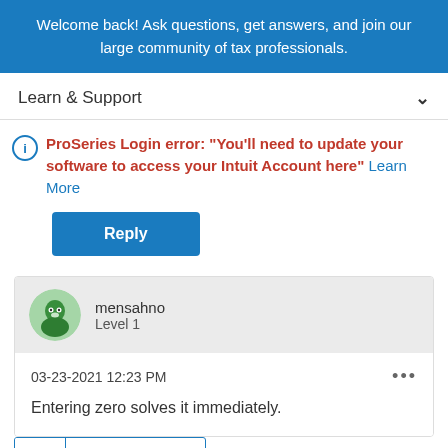Welcome back! Ask questions, get answers, and join our large community of tax professionals.
Learn & Support
ProSeries Login error: "You'll need to update your software to access your Intuit Account here" Learn More
Reply
mensahno
Level 1
03-23-2021 12:23 PM
Entering zero solves it immediately.
1 Cheer